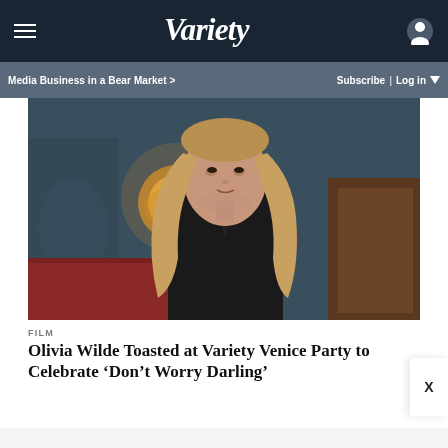VARIETY
Media Business in a Bear Market >   Subscribe | Log in
[Figure (photo): A woman with long blonde hair wearing a dark blazer seated in an ornately decorated room with painted murals and warm lighting in the background]
FILM
Olivia Wilde Toasted at Variety Venice Party to Celebrate ‘Don’t Worry Darling’